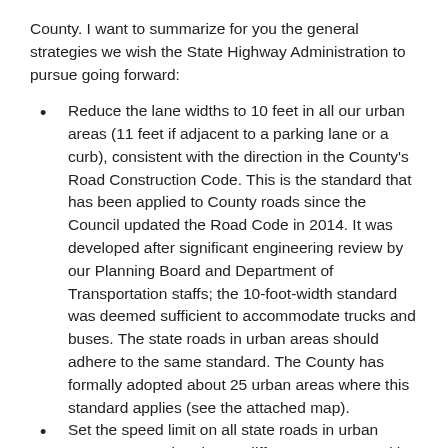County. I want to summarize for you the general strategies we wish the State Highway Administration to pursue going forward:
Reduce the lane widths to 10 feet in all our urban areas (11 feet if adjacent to a parking lane or a curb), consistent with the direction in the County's Road Construction Code. This is the standard that has been applied to County roads since the Council updated the Road Code in 2014. It was developed after significant engineering review by our Planning Board and Department of Transportation staffs; the 10-foot-width standard was deemed sufficient to accommodate trucks and buses. The state roads in urban areas should adhere to the same standard. The County has formally adopted about 25 urban areas where this standard applies (see the attached map).
Set the speed limit on all state roads in urban areas to 25 mph unless a different target speed is specified in